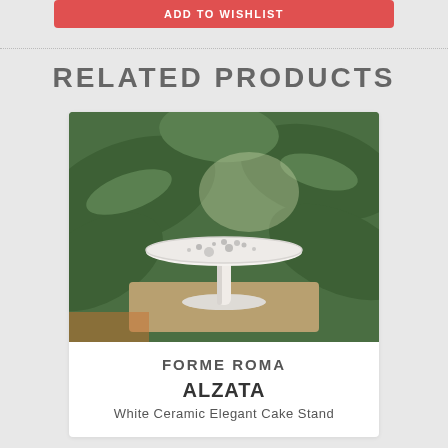ADD TO WISHLIST
RELATED PRODUCTS
[Figure (photo): White ceramic cake stand with a speckled top surface, sitting on a woven mat, with large green tropical leaves in the background]
FORME ROMA
ALZATA
White Ceramic Elegant Cake Stand